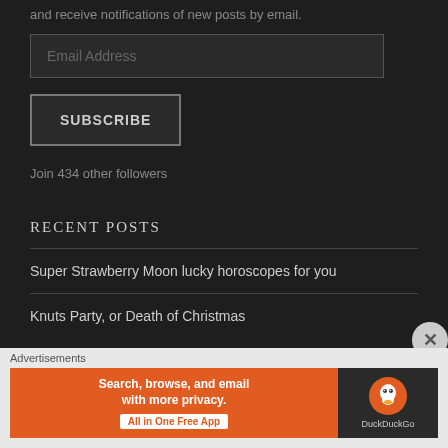and receive notifications of new posts by email.
Email Address
SUBSCRIBE
Join 434 other followers
RECENT POSTS
Super Strawberry Moon lucky horoscopes for you
Knuts Party, or Death of Christmas
Advertisements
[Figure (infographic): DuckDuckGo advertisement banner: 'Search, browse, and email with more privacy. All in One Free App' with DuckDuckGo logo on dark right panel]